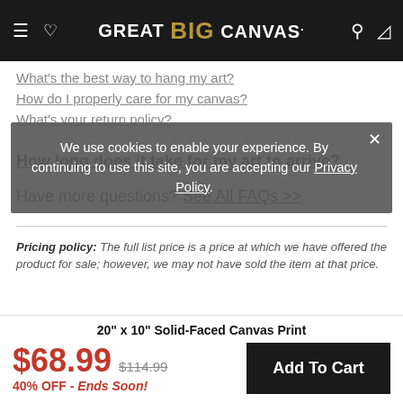GREAT BIG CANVAS.
We use cookies to enable your experience. By continuing to use this site, you are accepting our Privacy Policy.
What's the best way to hang my art?
How do I properly care for my canvas?
What's your return policy?
How long does it take for my art to arrive?
Have more questions? See All FAQs >>
Pricing policy: The full list price is a price at which we have offered the product for sale; however, we may not have sold the item at that price.
20" x 10" Solid-Faced Canvas Print
$68.99  $114.99  40% OFF - Ends Soon!